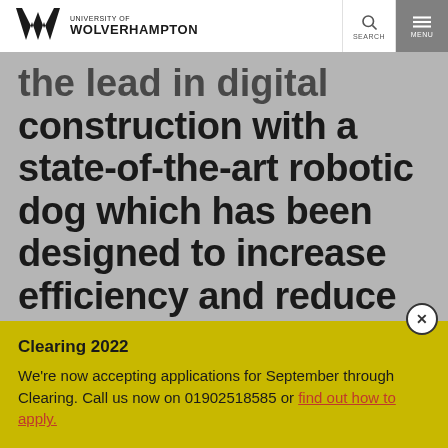[Figure (logo): University of Wolverhampton logo with stylized W mark]
the lead in digital construction with a state-of-the-art robotic dog which has been designed to increase efficiency and reduce safety risks on construction sites
Clearing 2022
We're now accepting applications for September through Clearing. Call us now on 01902518585 or find out how to apply.